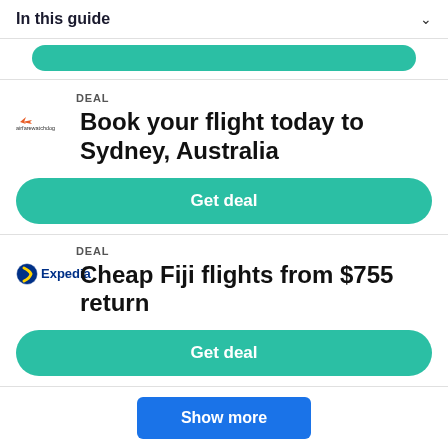In this guide
DEAL
Book your flight today to Sydney, Australia
Get deal
DEAL
Cheap Fiji flights from $755 return
Get deal
Show more